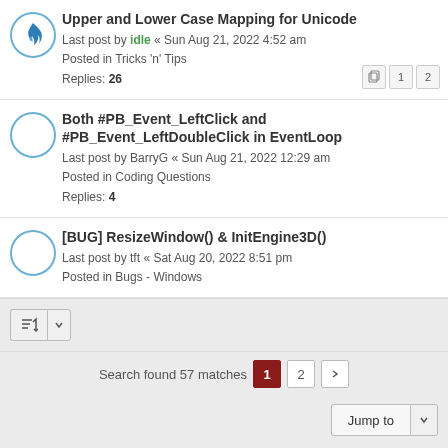Upper and Lower Case Mapping for Unicode
Last post by idle « Sun Aug 21, 2022 4:52 am
Posted in Tricks 'n' Tips
Replies: 26
Both #PB_Event_LeftClick and #PB_Event_LeftDoubleClick in EventLoop
Last post by BarryG « Sun Aug 21, 2022 12:29 am
Posted in Coding Questions
Replies: 4
[BUG] ResizeWindow() & InitEngine3D()
Last post by tft « Sat Aug 20, 2022 8:51 pm
Posted in Bugs - Windows
Search found 57 matches
ProLight Style by Ian Bradley
Powered by phpBB® Forum Software © phpBB Limited
Privacy | Terms